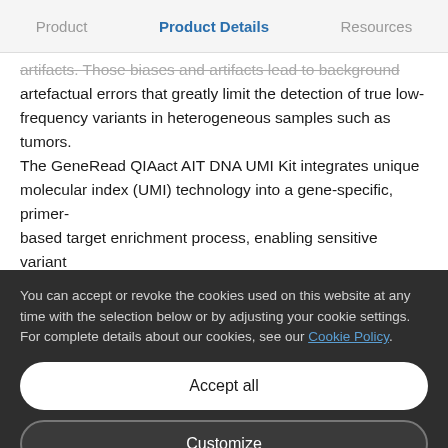Product | Product Details | Resources
artifacts. Those biases and artifacts lead to background artefactual errors that greatly limit the detection of true low-frequency variants in heterogeneous samples such as tumors. The GeneRead QIAact AIT DNA UMI Kit integrates unique molecular index (UMI) technology into a gene-specific, primer-based target enrichment process, enabling sensitive variant detection of targeted genomic regions by NGS on the
You can accept or revoke the cookies used on this website at any time with the selection below or by adjusting your cookie settings. For complete details about our cookies, see our Cookie Policy.
Accept all
Customize
Only necessary